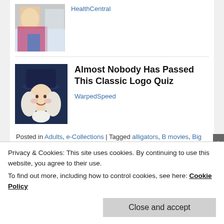[Figure (photo): Thumbnail image of a person in a store aisle]
HealthCentral
[Figure (illustration): Illustration of a colonial-era man with white wig and hat on dark background]
Almost Nobody Has Passed This Classic Logo Quiz
WarpedSpeed
Posted in Adults, e-Collections | Tagged alligators, B movies, Big Fish, creature features, dinosaurs, DVDs, Evergreen catalog, fantasy, Godzilla, Godzilla: King of the Monsters, hoopla, horror, Invasion of the Body Snatchers, Jaws, Journey to the Center of the Earth, Jules Verne's Mysterious Island, library catalog, sci-fi, shark, Shark Dive, streaming video, summer, The Last Lovecraft: The Relic of
Privacy & Cookies: This site uses cookies. By continuing to use this website, you agree to their use.
To find out more, including how to control cookies, see here: Cookie Policy
Close and accept